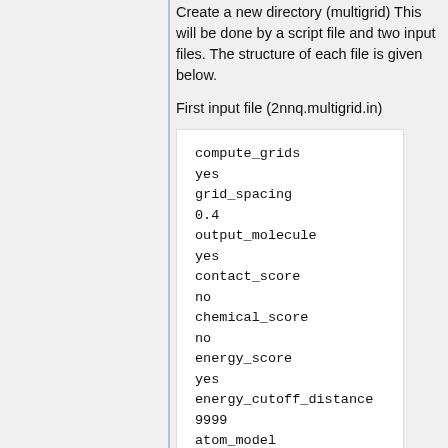Create a new directory (multigrid) This will be done by a script file and two input files. The structure of each file is given below.
First input file (2nnq.multigrid.in)
compute_grids
yes
grid_spacing
0.4
output_molecule
yes
contact_score
no
chemical_score
no
energy_score
yes
energy_cutoff_distance
9999
atom_model
a
attractive_exponent